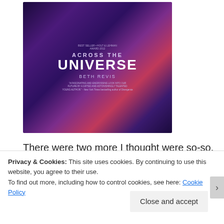[Figure (photo): Book cover of 'Across the Universe' by Beth Revis, featuring a purple/blue cosmic space background with the title in large white letters and the author's name below.]
There were two more I thought were so-so.  One was Delirium by Lauren Oliver.  The sequel comes out later this month.  In Delirium, young people are basically lobotomized by the government to remove their ability to experience love, which is seen as a terrible disease.  The future world suffered the same problems as many of the books I didn't like in that many of the elements didn't
Privacy & Cookies: This site uses cookies. By continuing to use this website, you agree to their use.
To find out more, including how to control cookies, see here: Cookie Policy
Close and accept